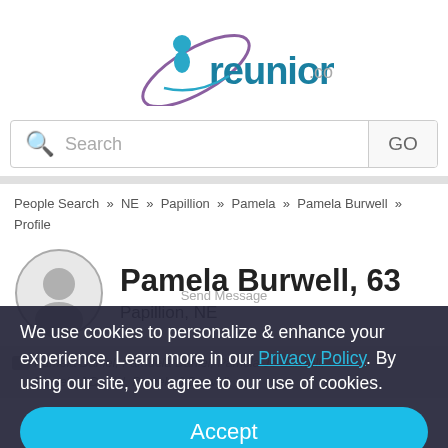[Figure (logo): reunion.com logo with stylized figure icon in teal/purple]
Search   GO
People Search » NE » Papillion » Pamela » Pamela Burwell » Profile
Pamela Burwell, 63
Papillion, NE
Pamela Daniel, Pamuela Daniel, Pamela Jo Burwell, Pamela J Daniel, Pamela J Burwell
We use cookies to personalize & enhance your experience. Learn more in our Privacy Policy. By using our site, you agree to our use of cookies.
Send Message
Accept